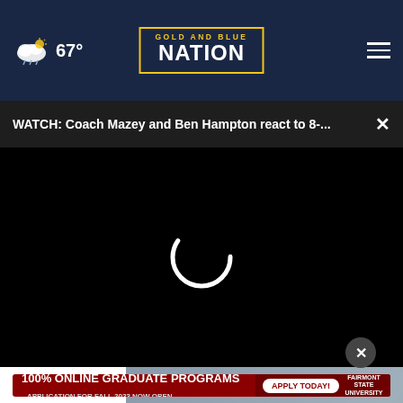67° — Gold and Blue Nation
WATCH: Coach Mazey and Ben Hampton react to 8-...
[Figure (screenshot): Video player loading screen with spinning loading indicator on black background]
[Figure (photo): Partial thumbnail of a person with earpiece visible at bottom of video area]
[Figure (other): Advertisement banner for Fairmont State University 100% Online Graduate Programs, Application for Fall 2023 Now Open, with Apply Today button]